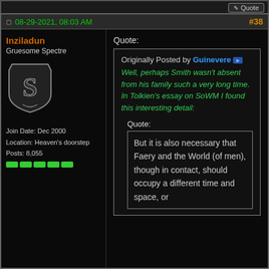Quote
08-29-2021, 08:03 AM  #38
Inziladun
Gruesome Spectre
Join Date: Dec 2000
Location: Heaven's doorstep
Posts: 8,055
Quote:
Originally Posted by Guinevere
Well, perhaps Smith wasn't absent from his family such a very long time. In Tolkien's essay on SoWM I found this interesting detail:
Quote:
But it is also necessary that Faery and the World (of men), though in contact, should occupy a different time and space, or